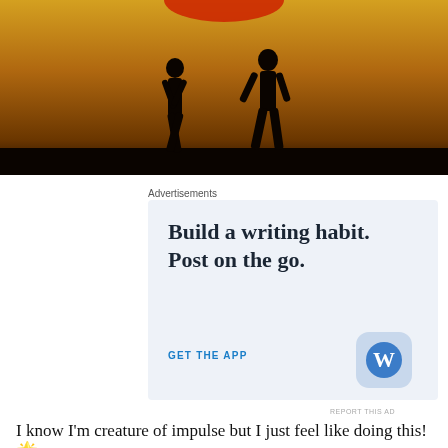[Figure (photo): Silhouette of a person against a warm sunset sky with golden and orange tones]
Advertisements
[Figure (screenshot): WordPress advertisement: 'Build a writing habit. Post on the go.' with 'GET THE APP' link and WordPress logo icon on a light blue-grey background]
REPORT THIS AD
I know I'm creature of impulse but I just feel like doing this!